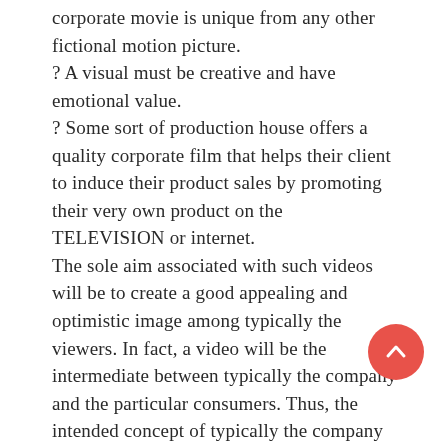corporate movie is unique from any other fictional motion picture.
? A visual must be creative and have emotional value.
? Some sort of production house offers a quality corporate film that helps their client to induce their product sales by promoting their very own product on the TELEVISION or internet.
The sole aim associated with such videos will be to create a good appealing and optimistic image among typically the viewers. In fact, a video will be the intermediate between typically the company and the particular consumers. Thus, the intended concept of typically the company should abundant exactly to the viewers the way you want. And therefore corporate firms are usually vastly enjoying it production services as they don't need in order to stress out issues traditional marketing concept. And a business can ensure its optimum sales without virtually any risk. An individual online video offers a great extent to the valuable organizations by exploring their